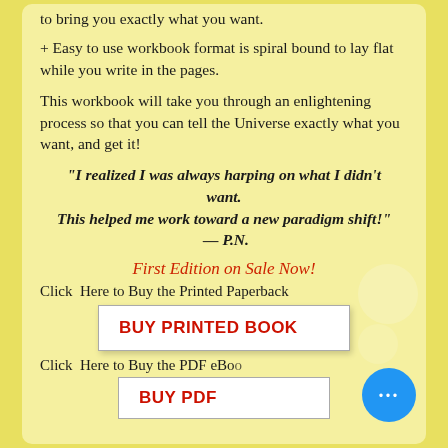to bring you exactly what you want.
+ Easy to use workbook format is spiral bound to lay flat while you write in the pages.
This workbook will take you through an enlightening process so that you can tell the Universe exactly what you want, and get it!
"I realized I was always harping on what I didn't want. This helped me work toward a new paradigm shift!" — P.N.
First Edition on Sale Now!
Click  Here to Buy the Printed Paperback
[Figure (other): Button: BUY PRINTED BOOK]
Click  Here to Buy the PDF eBo
[Figure (other): Button: BUY PDF (partially visible)]